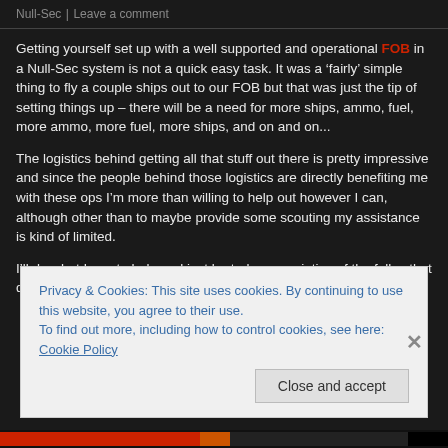Null-Sec | Leave a comment
Getting yourself set up with a well supported and operational FOB in a Null-Sec system is not a quick easy task. It was a ‘fairly’ simple thing to fly a couple ships out to our FOB but that was just the tip of setting things up – there will be a need for more ships, ammo, fuel, more ammo, more fuel, more ships, and on and on...
The logistics behind getting all that stuff out there is pretty impressive and since the people behind those logistics are directly benefiting me with these ops I’m more than willing to help out however I can, although other than to maybe provide some scouting my assistance is kind of limited.
I’ll do what I can to help and just be truly appreciative of the fellas that do these jobs!
Privacy & Cookies: This site uses cookies. By continuing to use this website, you agree to their use.
To find out more, including how to control cookies, see here: Cookie Policy
Close and accept